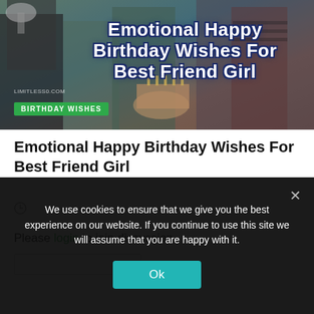[Figure (photo): Hero banner image showing group of young women at a birthday party celebration. Overlaid bold white text with dark outline reads 'Emotional Happy Birthday Wishes For Best Friend Girl'. Green badge reads 'BIRTHDAY WISHES'. Watermark 'LIMITLESS0.COM' visible.]
Emotional Happy Birthday Wishes For Best Friend Girl
[Figure (other): Clock/time icon (circle with clock hands)]
Please login to join discussion
We use cookies to ensure that we give you the best experience on our website. If you continue to use this site we will assume that you are happy with it.